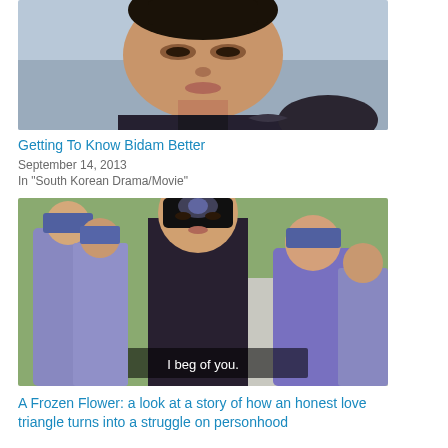[Figure (photo): Close-up portrait of a young Asian man in a black historical Korean costume, with blurred background sky and landscape.]
Getting To Know Bidam Better
September 14, 2013
In "South Korean Drama/Movie"
[Figure (photo): Group of young men dressed in purple and dark historical Korean costumes standing on a path; a subtitle reads 'I beg of you.' Main figure has black hair and ornate headpiece.]
A Frozen Flower: a look at a story of how an honest love triangle turns into a struggle on personhood